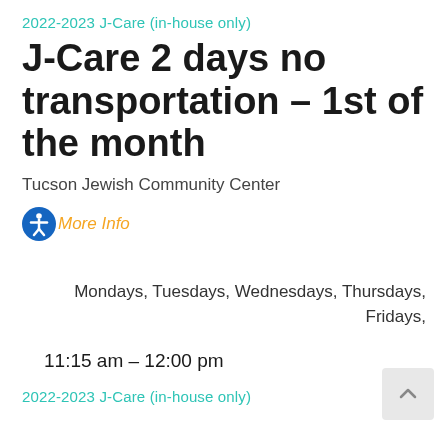2022-2023 J-Care (in-house only)
J-Care 2 days no transportation – 1st of the month
Tucson Jewish Community Center
More Info
Mondays, Tuesdays, Wednesdays, Thursdays, Fridays,
11:15 am – 12:00 pm
2022-2023 J-Care (in-house only)